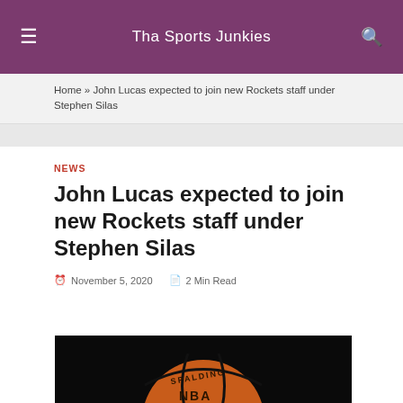Tha Sports Junkies
Home » John Lucas expected to join new Rockets staff under Stephen Silas
NEWS
John Lucas expected to join new Rockets staff under Stephen Silas
November 5, 2020   2 Min Read
[Figure (photo): Spalding NBA basketball on a dark background]